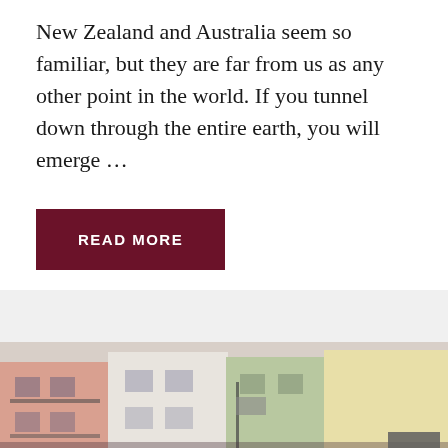New Zealand and Australia seem so familiar, but they are far from us as any other point in the world. If you tunnel down through the entire earth, you will emerge …
[Figure (other): Dark red 'READ MORE' button]
[Figure (photo): Street scene with colorful European-style building facades. Overlaid text reads 'Judgement of Paris' in large white bold serif font, with subtitle 'California versus France' in smaller italic text below.]